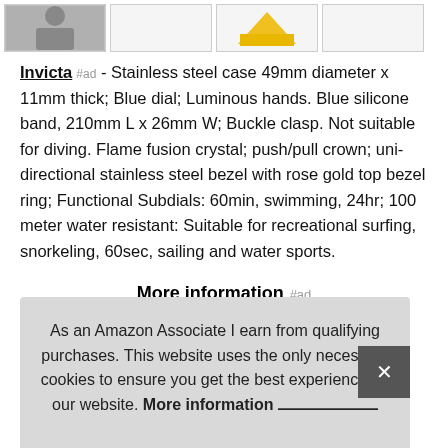[Figure (photo): Row of product thumbnail images: person in grey jacket, empty box, yellow product box, empty box]
Invicta #ad - Stainless steel case 49mm diameter x 11mm thick; Blue dial; Luminous hands. Blue silicone band, 210mm L x 26mm W; Buckle clasp. Not suitable for diving. Flame fusion crystal; push/pull crown; uni-directional stainless steel bezel with rose gold top bezel ring; Functional Subdials: 60min, swimming, 24hr; 100 meter water resistant: Suitable for recreational surfing, snorkeling, 60sec, sailing and water sports.
More information #ad
Jap
Jap
As an Amazon Associate I earn from qualifying purchases. This website uses the only necessary cookies to ensure you get the best experience on our website. More information